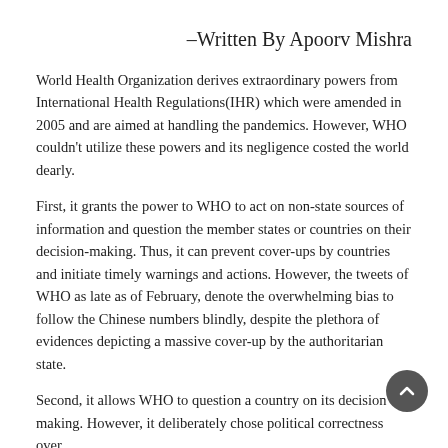–Written By Apoorv Mishra
World Health Organization derives extraordinary powers from International Health Regulations(IHR) which were amended in 2005 and are aimed at handling the pandemics. However, WHO couldn't utilize these powers and its negligence costed the world dearly.
First, it grants the power to WHO to act on non-state sources of information and question the member states or countries on their decision-making. Thus, it can prevent cover-ups by countries and initiate timely warnings and actions. However, the tweets of WHO as late as of February, denote the overwhelming bias to follow the Chinese numbers blindly, despite the plethora of evidences depicting a massive cover-up by the authoritarian state.
Second, it allows WHO to question a country on its decision making. However, it deliberately chose political correctness over